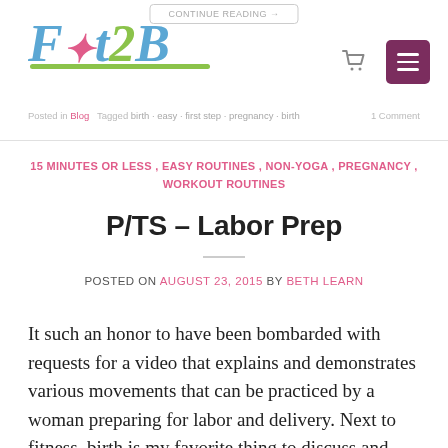Fit2B logo and navigation header
Posted in Blog   Tagged birth · easy · first step · etc.   1 Comment
15 MINUTES OR LESS , EASY ROUTINES , NON-YOGA , PREGNANCY , WORKOUT ROUTINES
P/TS – Labor Prep
POSTED ON AUGUST 23, 2015 BY BETH LEARN
It such an honor to have been bombarded with requests for a video that explains and demonstrates various movements that can be practiced by a woman preparing for labor and delivery. Next to fitness, birth is my favorite thing to discuss and research, and I've been passionate about it since I read my first birth book at [...]